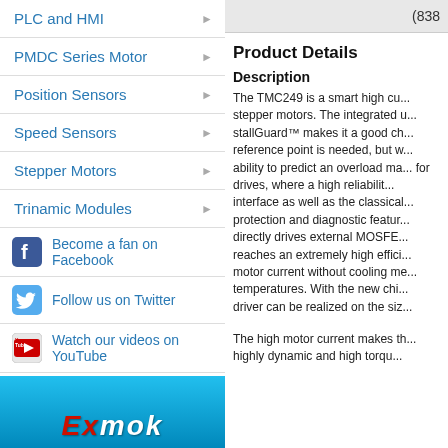PLC and HMI
PMDC Series Motor
Position Sensors
Speed Sensors
Stepper Motors
Trinamic Modules
Become a fan on Facebook
Follow us on Twitter
Watch our videos on YouTube
[Figure (logo): Trinamic logo with triangle symbol and PRODUCT CATALOG text]
[Figure (photo): Bottom banner with Exmok branding on blue background]
(838...
Product Details
Description
The TMC249 is a smart high current driver for stepper motors. The integrated stallGuard™ makes it a good choice where no reference point is needed, but where there is the ability to predict an overload makes it excellent for drives, where a high reliability is required. SPI interface as well as the classical step/dir protection and diagnostic features. The IC directly drives external MOSFETs and thereby reaches an extremely high efficiency and high motor current without cooling measures at room temperatures. With the new chip, a full stepper driver can be realized on the size...
The high motor current makes the TMC249 highly dynamic and high torque...